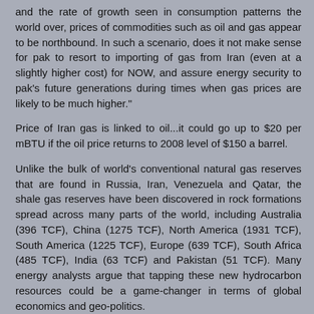and the rate of growth seen in consumption patterns the world over, prices of commodities such as oil and gas appear to be northbound. In such a scenario, does it not make sense for pak to resort to importing of gas from Iran (even at a slightly higher cost) for NOW, and assure energy security to pak's future generations during times when gas prices are likely to be much higher."
Price of Iran gas is linked to oil...it could go up to $20 per mBTU if the oil price returns to 2008 level of $150 a barrel.
Unlike the bulk of world's conventional natural gas reserves that are found in Russia, Iran, Venezuela and Qatar, the shale gas reserves have been discovered in rock formations spread across many parts of the world, including Australia (396 TCF), China (1275 TCF), North America (1931 TCF), South America (1225 TCF), Europe (639 TCF), South Africa (485 TCF), India (63 TCF) and Pakistan (51 TCF). Many energy analysts argue that tapping these new hydrocarbon resources could be a game-changer in terms of global economics and geo-politics.
http://www.riazhag.com/2011/05/pakistans-vast-shale-gas-